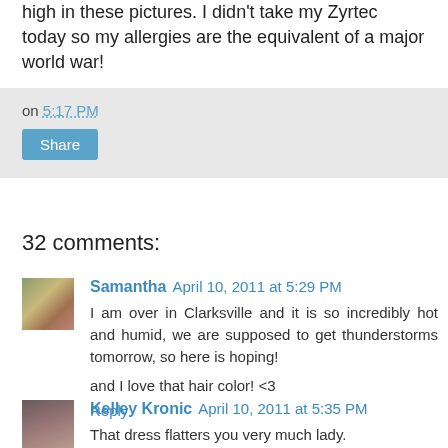high in these pictures. I didn't take my Zyrtec today so my allergies are the equivalent of a major world war!
on 5:17 PM
Share
32 comments:
Samantha April 10, 2011 at 5:29 PM
I am over in Clarksville and it is so incredibly hot and humid, we are supposed to get thunderstorms tomorrow, so here is hoping!

and I love that hair color! <3
Reply
Kelley Kronic April 10, 2011 at 5:35 PM
That dress flatters you very much lady.